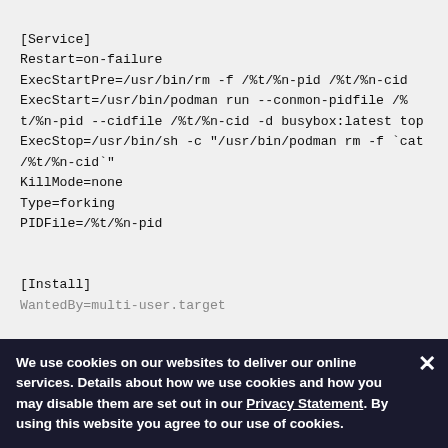[Service]
Restart=on-failure
ExecStartPre=/usr/bin/rm -f /%t/%n-pid /%t/%n-cid
ExecStart=/usr/bin/podman run --conmon-pidfile /%t/%n-pid --cidfile /%t/%n-cid -d busybox:latest top
ExecStop=/usr/bin/sh -c "/usr/bin/podman rm -f `cat /%t/%n-cid`"
KillMode=none
Type=forking
PIDFile=/%t/%n-pid


[Install]
WantedBy=multi-user.target
We use cookies on our websites to deliver our online services. Details about how we use cookies and how you may disable them are set out in our Privacy Statement. By using this website you agree to our use of cookies.